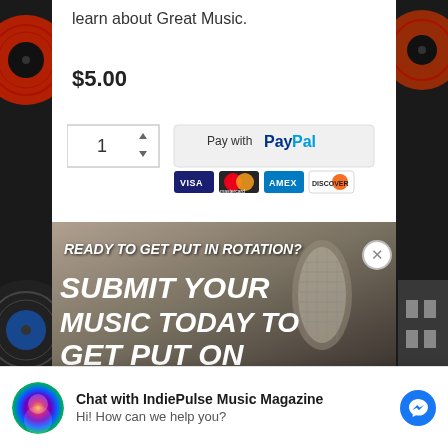learn about Great Music.
$5.00
[Figure (screenshot): Quantity selector showing '1' with up/down arrows, next to a PayPal payment button with Visa, Mastercard, Amex, Discover card icons]
[Figure (photo): Promotional banner with microphone background. Text reads: 'READY TO GET PUT IN ROTATION? SUBMIT YOUR MUSIC TODAY TO GET PUT ON']
Chat with IndiePulse Music Magazine
Hi! How can we help you?